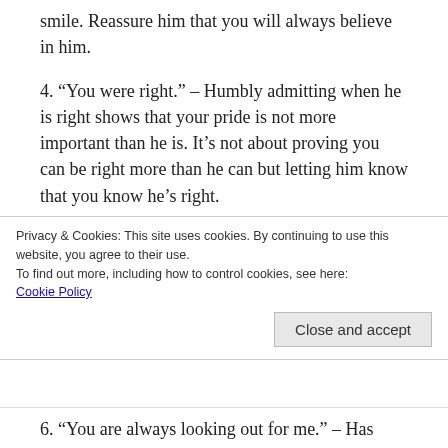smile. Reassure him that you will always believe in him.
4. “You were right.” – Humbly admitting when he is right shows that your pride is not more important than he is. It’s not about proving you can be right more than he can but letting him know that you know he’s right.
5. “I appreciate all you do for me and for our family.” – Let your husband know you appreciate how hard he works to bring a solid income into the family. If you are a stay at
Privacy & Cookies: This site uses cookies. By continuing to use this website, you agree to their use.
To find out more, including how to control cookies, see here: Cookie Policy
6. “You are always looking out for me.” – Has